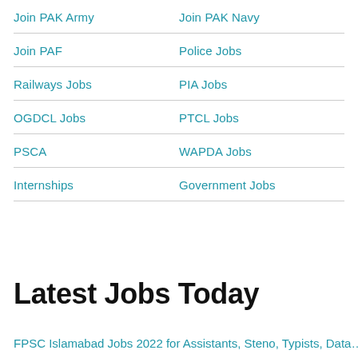Join PAK Army
Join PAK Navy
Join PAF
Police Jobs
Railways Jobs
PIA Jobs
OGDCL Jobs
PTCL Jobs
PSCA
WAPDA Jobs
Internships
Government Jobs
Latest Jobs Today
FPSC Islamabad Jobs 2022 for Assistants, Steno, Typists, Data…